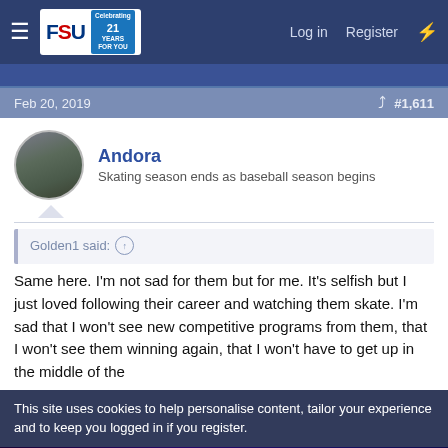FSU | Log in | Register
Feb 20, 2019  #1,611
Andora
Skating season ends as baseball season begins
Golden1 said: ↑

Same here. I'm not sad for them but for me. It's selfish but I just loved following their career and watching them skate. I'm sad that I won't see new competitive programs from them, that I won't see them winning again, that I won't have to get up in the middle of the
This site uses cookies to help personalise content, tailor your experience and to keep you logged in if you register.
[Figure (other): Advertisement banner for 'Forbidden Desire' game with 'PLAY NOW' button and 18+ label]